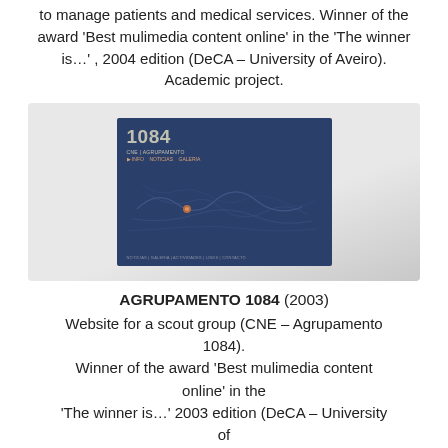to manage patients and medical services. Winner of the award 'Best mulimedia content online' in the 'The winner is…' , 2004 edition (DeCA – University of Aveiro). Academic project.
[Figure (screenshot): Screenshot of the Agrupamento 1084 website displayed on a screen against a grey gradient background. The screenshot shows a dark navy blue webpage with '1084' as the title and a map-like graphic.]
AGRUPAMENTO 1084 (2003) Website for a scout group (CNE – Agrupamento 1084). Winner of the award 'Best mulimedia content online' in the 'The winner is…' 2003 edition (DeCA – University of Aveiro). Academic project.